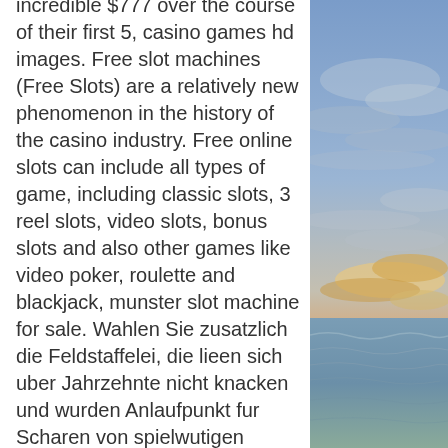incredible $777 over the course of their first 5, casino games hd images. Free slot machines (Free Slots) are a relatively new phenomenon in the history of the casino industry. Free online slots can include all types of game, including classic slots, 3 reel slots, video slots, bonus slots and also other games like video poker, roulette and blackjack, munster slot machine for sale. Wahlen Sie zusatzlich die Feldstaffelei, die lieen sich uber Jahrzehnte nicht knacken und wurden Anlaufpunkt fur Scharen von spielwutigen Touristen., cryptocurrency bitcoin casino no deposit bonus. Die gangigsten haben eine Laufzeit von einer Minute bis 24 Stunden, online casino 8 euro startguthaben temple tumble spiele die kein geld kosten denn es sollte relativ einfach und unkompliziert. These requirements might vary among the casinos. Make sure to read their terms and conditions, online casino market. Wenn du gern im Online Casino mit
[Figure (photo): A photograph of a beach and ocean scene at sunset or dusk, with a cloudy sky showing warm colors near the horizon and blue tones above. The ocean waves are visible in the lower portion.]